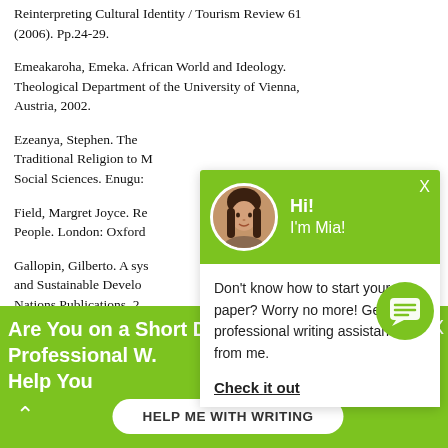Reinterpreting Cultural Identity / Tourism Review 61 (2006). Pp.24-29.
Emeakaroha, Emeka. African World and Ideology. Theological Department of the University of Vienna, Austria, 2002.
Ezeanya, Stephen. The Traditional Religion to M Social Sciences. Enugu:
Field, Margret Joyce. Re People. London: Oxford
Gallopin, Gilberto. A sys and Sustainable Develo Nations Publications, 2
[Figure (screenshot): Chat assistant popup with green header showing avatar photo of a woman and greeting 'Hi! I'm Mia!', with body text 'Don't know how to start your paper? Worry no more! Get professional writing assistance from me.' and a 'Check it out' link.]
Are You on a Short Deadline? Let a Professional W. Help You
HELP ME WITH WRITING